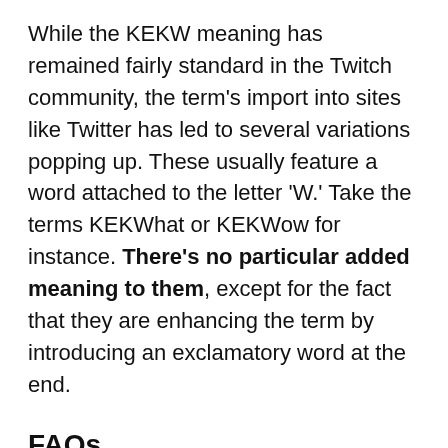While the KEKW meaning has remained fairly standard in the Twitch community, the term's import into sites like Twitter has led to several variations popping up. These usually feature a word attached to the letter 'W.' Take the terms KEKWhat or KEKWow for instance. There's no particular added meaning to them, except for the fact that they are enhancing the term by introducing an exclamatory word at the end.
FAQs